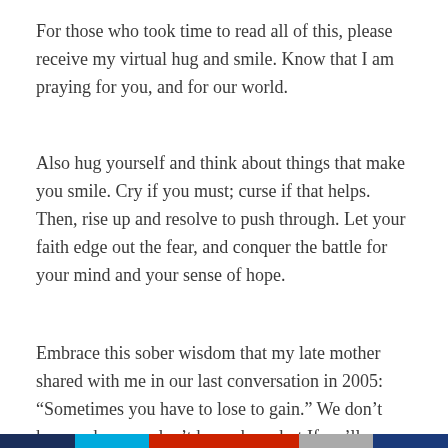For those who took time to read all of this, please receive my virtual hug and smile. Know that I am praying for you, and for our world.
Also hug yourself and think about things that make you smile. Cry if you must; curse if that helps. Then, rise up and resolve to push through. Let your faith edge out the fear, and conquer the battle for your mind and your sense of hope.
Embrace this sober wisdom that my late mother shared with me in our last conversation in 2005: “Sometimes you have to lose to gain.” We don’t know when, we don’t know how, but If we’ll endure through this night, morning will come, beauty will replace ashes, and hope and healthiness will reign through the land once again.